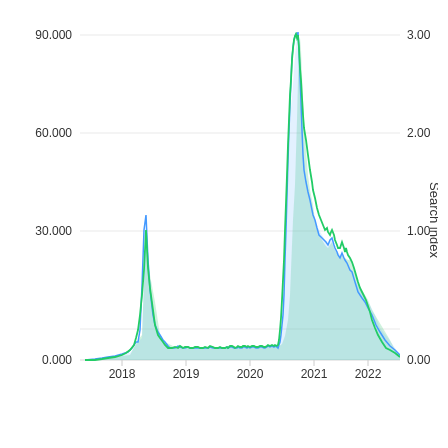[Figure (continuous-plot): Dual-axis continuous line/area chart showing Bitcoin price (blue line, left axis 0-90,000) and Search index (green line/area, right axis 0.00-3.00) from 2018 to 2022. Both series show a major spike in early 2018, a large peak in late 2021 with Bitcoin reaching ~95,000 and search index ~3.00, followed by decline into 2022.]